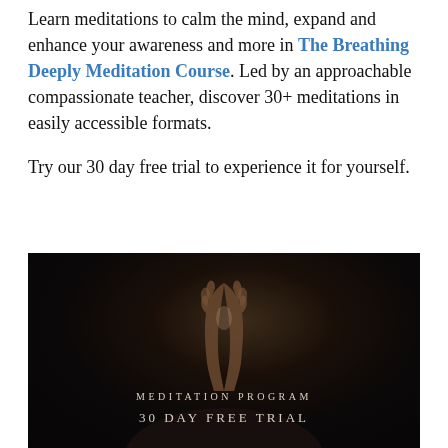Learn meditations to calm the mind, expand and enhance your awareness and more in The Breathing Deeply Meditation Course. Led by an approachable compassionate teacher, discover 30+ meditations in easily accessible formats.

Try our 30 day free trial to experience it for yourself.
[Figure (photo): Dark photo of a person in prayer/meditation hand position with text overlay reading 'MEDITATION PROGRAM' and '30 DAY FREE TRIAL']